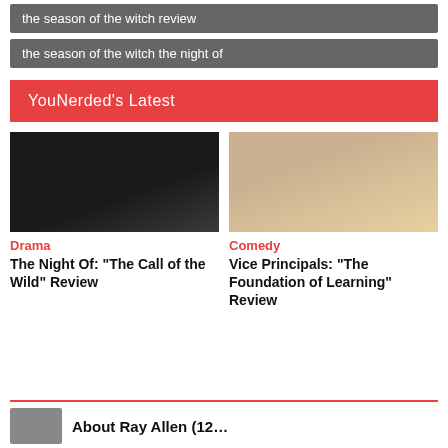the season of the witch review
the season of the witch the night of
YouNerded's Latest
[Figure (photo): Dark moody scene with a person in a suit standing before a group of people in a dimly lit room]
[Figure (photo): Two people standing in a warehouse or retail store, a man with arms crossed and a woman holding a bag]
Drama
The Night Of: “The Call of the Wild” Review
Comedy
Vice Principals: “The Foundation of Learning” Review
About Ray Allen (12…